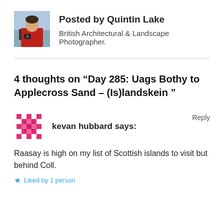[Figure (photo): Avatar photo of Quintin Lake wearing a red jacket with a camera, outdoors.]
Posted by Quintin Lake
British Architectural & Landscape Photographer.
4 thoughts on “Day 285: Uags Bothy to Applecross Sand – (Is)landskein ”
[Figure (illustration): Pixel/geometric avatar icon for commenter kevan hubbard, pink/red geometric pattern.]
kevan hubbard says:
Reply
Raasay is high on my list of Scottish islands to visit but behind Coll.
★ Liked by 1 person